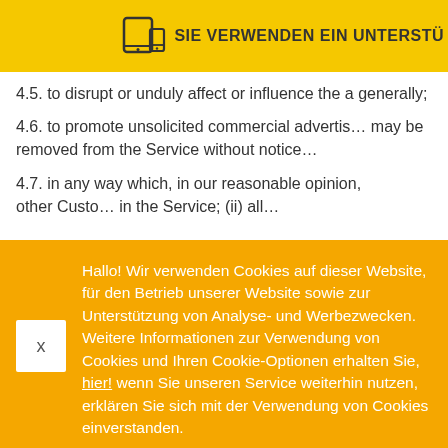SIE VERWENDEN EIN UNTERSTÜ…
4.5. to disrupt or unduly affect or influence the a generally;
4.6. to promote unsolicited commercial advertis… may be removed from the Service without notice…
4.7. in any way which, in our reasonable opinion,… other Custo… in the Service; (ii) all…
Hallo! Wir verwenden Cookies auf dieser Website, für den Betrieb unserer Website sowie zur Unterstützung von Analyse- und Werbezwecken. Weitere Informationen zur Verwendung von Cookies und Ihren Cookie-Optionen erhalten Sie, hier! wenn Sie unseren Service weiterhin nutzen, erklären Sie sich mit der Verwendung von Cookies einverstanden.